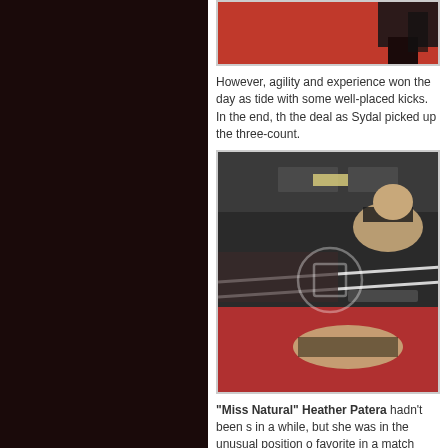[Figure (photo): Wrestling match photo - top portion showing red mat and wrestlers' feet/legs]
However, agility and experience won the day as tide with some well-placed kicks. In the end, the the deal as Sydal picked up the three-count.
[Figure (photo): Wrestling match photo showing a wrestler performing a move on an opponent in a wrestling ring with audience visible in background]
"Miss Natural" Heather Patera hadn't been s in a while, but she was in the unusual position o favorite in a match against Lucy Mendez.
[Figure (photo): Wrestling match photo - bottom partial view]